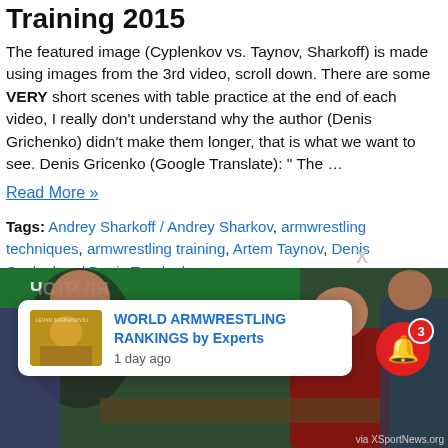Training 2015
The featured image (Cyplenkov vs. Taynov, Sharkoff) is made using images from the 3rd video, scroll down. There are some VERY short scenes with table practice at the end of each video, I really don't understand why the author (Denis Grichenko) didn't make them longer, that is what we want to see. Denis Gricenko (Google Translate): “ The …
Read More »
Tags: Andrey Sharkoff / Andrey Sharkov, armwrestling techniques, armwrestling training, Artem Taynov, Denis Cyplenkov / Denis Tsyplenkov
[Figure (photo): Armwrestling match photo with notification overlay showing 'WORLD ARMWRESTLING RANKINGS by Experts, 1 day ago' and a red bell notification button with badge showing 3]